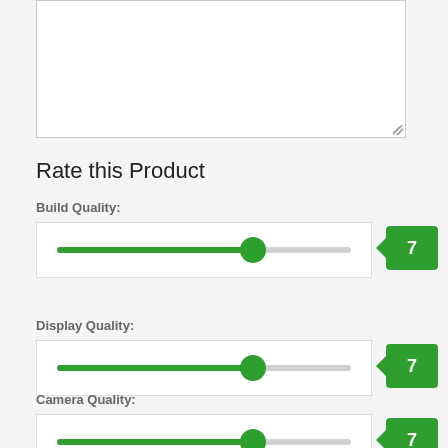[Figure (screenshot): A textarea input field (empty, white background) with a resize handle in the bottom-right corner]
Rate this Product
Build Quality:
[Figure (infographic): Horizontal slider for Build Quality set to 7 out of 10, green fill with circular thumb, and a green badge showing value 7]
Display Quality:
[Figure (infographic): Horizontal slider for Display Quality set to 7 out of 10, green fill with circular thumb, and a green badge showing value 7]
Camera Quality:
[Figure (infographic): Horizontal slider for Camera Quality set to 7 out of 10, green fill with circular thumb, and a green badge showing value 7]